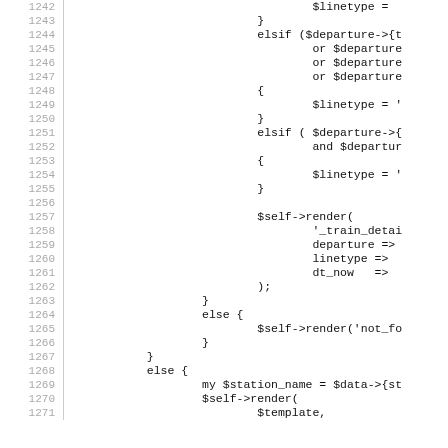Source code listing, lines 1242-1271, showing Perl code with conditionals and render calls.